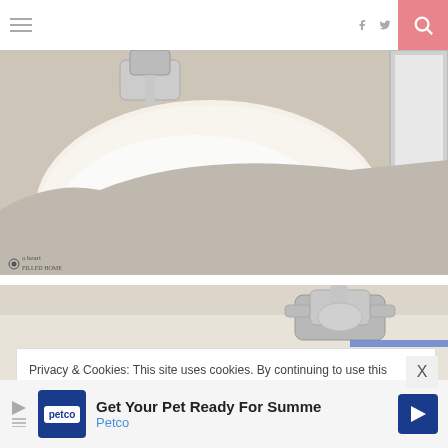Navigation header with hamburger menu, social icons (f, twitter, instagram, pinterest), and search button
[Figure (photo): Close-up photo of a white bathroom sink with chrome faucet and drain visible, with a mirror frame on the right side showing a tiled floor]
[Figure (photo): Partial photo of a bathroom sink faucet with blue painter's tape visible]
Privacy & Cookies: This site uses cookies. By continuing to use this website, you agree to their use.
To find out more, including how to control cookies, see here: Cookie Policy
[Figure (infographic): Petco advertisement banner: 'Get Your Pet Ready For Summe' with Petco logo and navigation arrow icon]